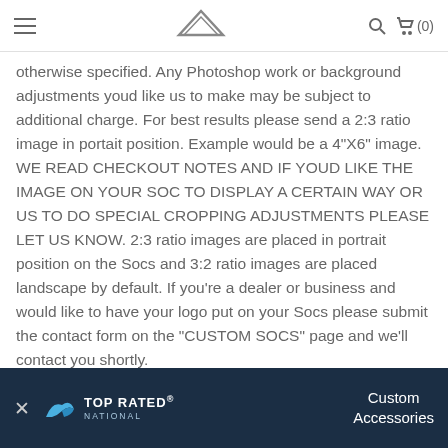Navigation header with hamburger menu, logo, search icon, and cart (0)
otherwise specified. Any Photoshop work or background adjustments youd like us to make may be subject to additional charge. For best results please send a 2:3 ratio image in portait position. Example would be a 4"X6" image. WE READ CHECKOUT NOTES AND IF YOUD LIKE THE IMAGE ON YOUR SOC TO DISPLAY A CERTAIN WAY OR US TO DO SPECIAL CROPPING ADJUSTMENTS PLEASE LET US KNOW. 2:3 ratio images are placed in portrait position on the Socs and 3:2 ratio images are placed landscape by default. If you're a dealer or business and would like to have your logo put on your Socs please submit the contact form on the "CUSTOM SOCS" page and we'll contact you shortly.
You can also order two different images on one Soc. If you'd like two different images one one Soc please include the SKU's or names in the blanks provided. If we're not certain what yo... choice is yours!
[Figure (logo): Top Rated National banner with close button and Custom Accessories text on dark navy background]